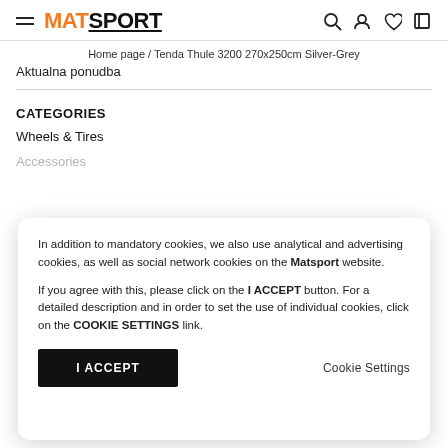MATSPORT — navigation header with hamburger menu, logo, search, account, wishlist, and cart icons
Home page / Tenda Thule 3200 270x250cm Silver-Grey
Aktualna ponudba
CATEGORIES
Wheels & Tires
In addition to mandatory cookies, we also use analytical and advertising cookies, as well as social network cookies on the Matsport website.

If you agree with this, please click on the I ACCEPT button. For a detailed description and in order to set the use of individual cookies, click on the COOKIE SETTINGS link.